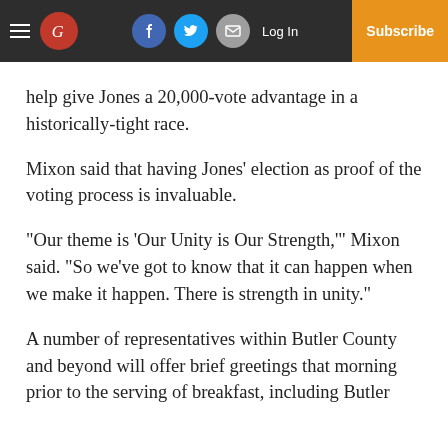The Guardian - Log In | Subscribe
help give Jones a 20,000-vote advantage in a historically-tight race.
Mixon said that having Jones’ election as proof of the voting process is invaluable.
“Our theme is ‘Our Unity is Our Strength,’” Mixon said.  “So we’ve got to know that it can happen when we make it happen.  There is strength in unity.”
A number of representatives within Butler County and beyond will offer brief greetings that morning prior to the serving of breakfast, including Butler